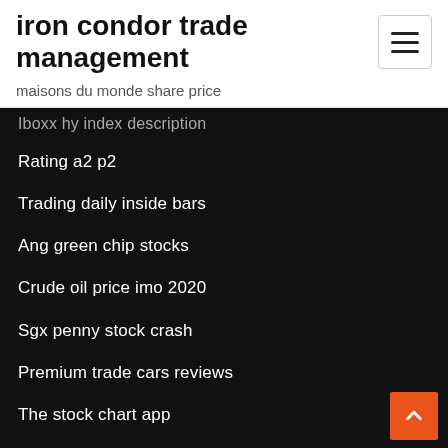iron condor trade management
maisons du monde share price
Iboxx hy index description
Rating a2 p2
Trading daily inside bars
Ang green chip stocks
Crude oil price imo 2020
Sgx penny stock crash
Premium trade cars reviews
The stock chart app
What is the capitalization rate formula
Best s&p 500 index fund canada